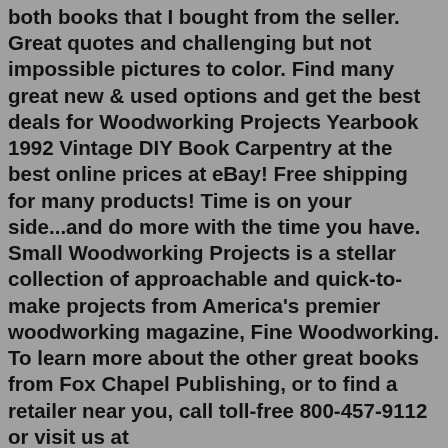both books that I bought from the seller. Great quotes and challenging but not impossible pictures to color. Find many great new & used options and get the best deals for Woodworking Projects Yearbook 1992 Vintage DIY Book Carpentry at the best online prices at eBay! Free shipping for many products! Time is on your side...and do more with the time you have. Small Woodworking Projects is a stellar collection of approachable and quick-to-make projects from America's premier woodworking magazine, Fine Woodworking. To learn more about the other great books from Fox Chapel Publishing, or to find a retailer near you, call toll-free 800-457-9112 or visit us at www.FoxChapelPublishing.com. Printed in China First printing Because working with wood and other materials inherently includes the risk of injury and damage, this book cannot guarantee Time is on your side...and do more with the time you have. Small Woodworking Projects is a stellar collection of approachable and quick-to-make projects from America's premier woodworking magazine, Fine